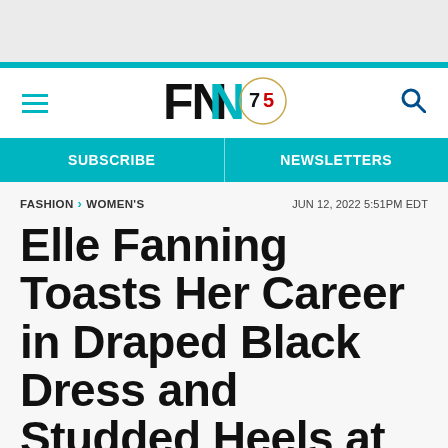FN 75 — Footwear News logo with SUBSCRIBE and NEWSLETTERS navigation
FASHION › WOMEN'S    JUN 12, 2022 5:51PM EDT
Elle Fanning Toasts Her Career in Draped Black Dress and Studded Heels at American